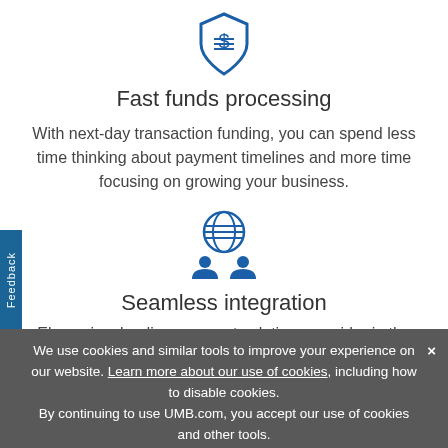[Figure (illustration): Blue shield icon with dollar sign and horizontal lines]
Fast funds processing
With next-day transaction funding, you can spend less time thinking about payment timelines and more time focusing on growing your business.
[Figure (illustration): Blue globe icon with two person/user icons beneath it]
Seamless integration
Elavon is a leading payment solutions provider in the
We use cookies and similar tools to improve your experience on our website. Learn more about our use of cookies, including how to disable cookies. By continuing to use UMB.com, you accept our use of cookies and other tools.